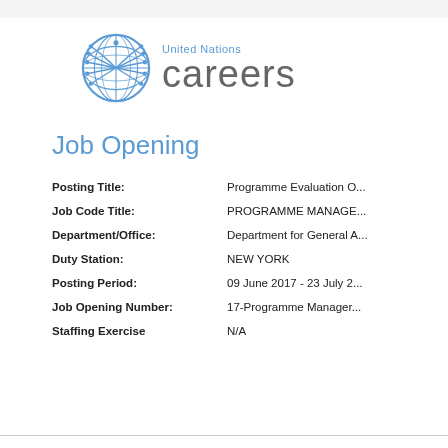[Figure (logo): United Nations Careers logo — UN emblem in blue with 'United Nations' text above large 'careers' in grey]
Job Opening
| Posting Title: | Programme Evaluation O... |
| Job Code Title: | PROGRAMME MANAGE... |
| Department/Office: | Department for General A... |
| Duty Station: | NEW YORK |
| Posting Period: | 09 June 2017 - 23 July 2... |
| Job Opening Number: | 17-Programme Manager... |
| Staffing Exercise | N/A |